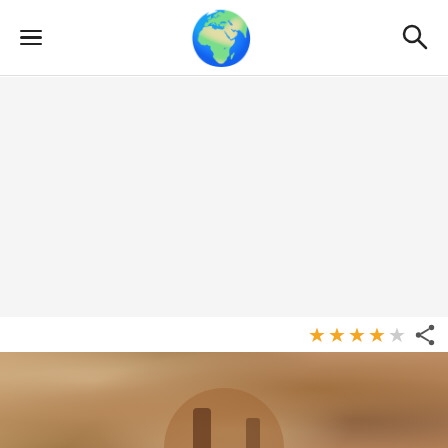Navigation header with hamburger menu, globe logo, and search icon
[Figure (other): Advertisement / empty white-gray area]
[Figure (other): 4 out of 5 star rating with share icon]
[Figure (photo): Photo of sandy cave or rock arch formation with people]